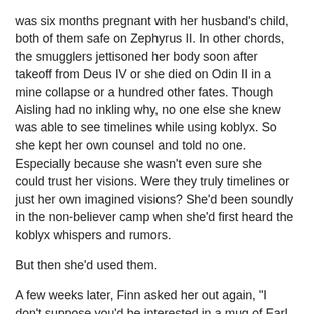was six months pregnant with her husband's child, both of them safe on Zephyrus II. In other chords, the smugglers jettisoned her body soon after takeoff from Deus IV or she died on Odin II in a mine collapse or a hundred other fates. Though Aisling had no inkling why, no one else she knew was able to see timelines while using koblyx. So she kept her own counsel and told no one. Especially because she wasn't even sure she could trust her visions. Were they truly timelines or just her own imagined visions? She'd been soundly in the non-believer camp when she'd first heard the koblyx whispers and rumors.
But then she'd used them.
A few weeks later, Finn asked her out again, "I don't suppose you'd be interested in a mug of Earl Gray?"
"Maybe next time," she said, but didn't mean it.
Soon she was spending every night on her couch, plucking at timelines, examining every decision that had led her to Odin III. All those terrible choices that had led to her husband's death on Deus IV. But at the same time, she used